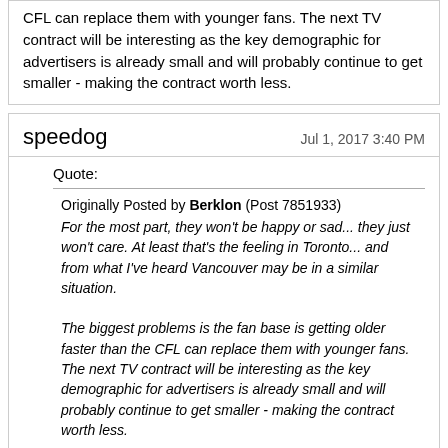CFL can replace them with younger fans. The next TV contract will be interesting as the key demographic for advertisers is already small and will probably continue to get smaller - making the contract worth less.
speedog
Jul 1, 2017 3:40 PM
Quote:
Originally Posted by Berklon (Post 7851933) For the most part, they won't be happy or sad... they just won't care. At least that's the feeling in Toronto... and from what I've heard Vancouver may be in a similar situation. The biggest problems is the fan base is getting older faster than the CFL can replace them with younger fans. The next TV contract will be interesting as the key demographic for advertisers is already small and will probably continue to get smaller - making the contract worth less.
I can't see it being any larger, I would think advertising in print media is pretty much a dead horse and advertising on video media will be going that way what with people able to record programs on DVR's and then skip through commercials while watching their recorded program at their convenience.
As for Calgary's recent low attendance this past Thursday, I do